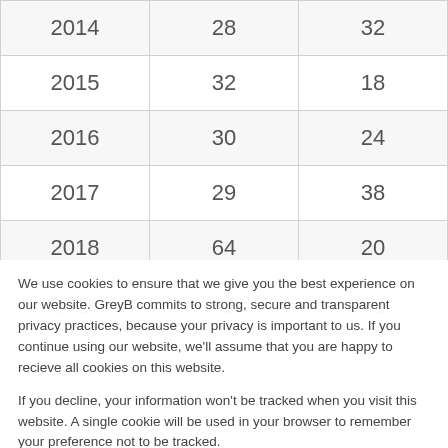| 2014 | 28 | 32 |
| 2015 | 32 | 18 |
| 2016 | 30 | 24 |
| 2017 | 29 | 38 |
| 2018 | 64 | 20 |
| 2019 | 41 | 52 |
We use cookies to ensure that we give you the best experience on our website. GreyB commits to strong, secure and transparent privacy practices, because your privacy is important to us. If you continue using our website, we'll assume that you are happy to recieve all cookies on this website.
If you decline, your information won't be tracked when you visit this website. A single cookie will be used in your browser to remember your preference not to be tracked.